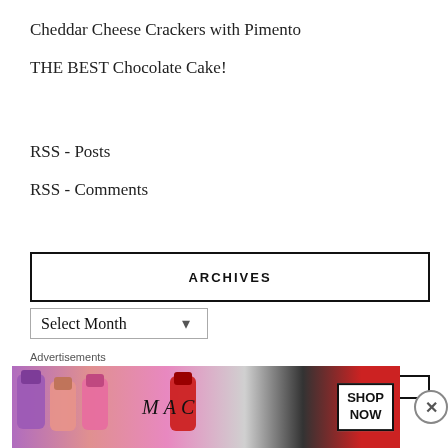Cheddar Cheese Crackers with Pimento
THE BEST Chocolate Cake!
RSS - Posts
RSS - Comments
ARCHIVES
Select Month
[Figure (screenshot): Advertisements banner showing MAC cosmetics lipsticks with SHOP NOW button]